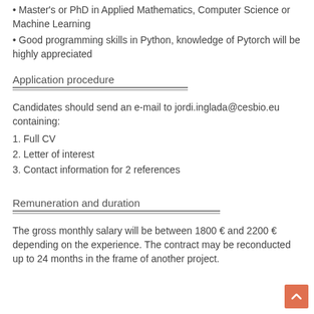• Master's or PhD in Applied Mathematics, Computer Science or Machine Learning
• Good programming skills in Python, knowledge of Pytorch will be highly appreciated
Application procedure
Candidates should send an e-mail to jordi.inglada@cesbio.eu containing:
1. Full CV
2. Letter of interest
3. Contact information for 2 references
Remuneration and duration
The gross monthly salary will be between 1800 € and 2200 € depending on the experience. The contract may be reconducted up to 24 months in the frame of another project.